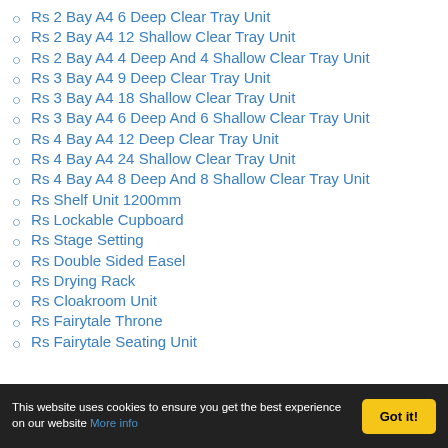Rs 2 Bay A4 6 Deep Clear Tray Unit
Rs 2 Bay A4 12 Shallow Clear Tray Unit
Rs 2 Bay A4 4 Deep And 4 Shallow Clear Tray Unit
Rs 3 Bay A4 9 Deep Clear Tray Unit
Rs 3 Bay A4 18 Shallow Clear Tray Unit
Rs 3 Bay A4 6 Deep And 6 Shallow Clear Tray Unit
Rs 4 Bay A4 12 Deep Clear Tray Unit
Rs 4 Bay A4 24 Shallow Clear Tray Unit
Rs 4 Bay A4 8 Deep And 8 Shallow Clear Tray Unit
Rs Shelf Unit 1200mm
Rs Lockable Cupboard
Rs Stage Setting
Rs Double Sided Easel
Rs Drying Rack
Rs Cloakroom Unit
Rs Fairytale Throne
Rs Fairytale Seating Unit
This website uses cookies to ensure you get the best experience on our website More info   Got it!